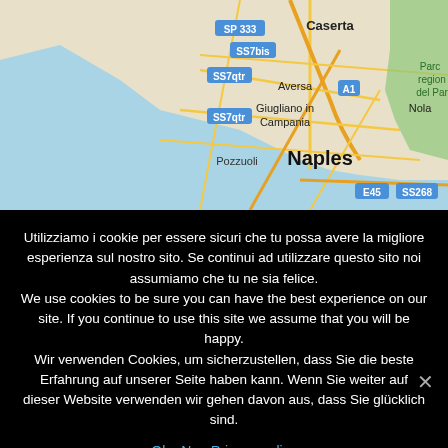[Figure (map): Google Maps screenshot showing the Naples area in Italy, including Caserta, Aversa, Giugliano in Campania, Pozzuoli, Naples, and Nola. Road labels visible: SP 333, SS7bis, SS7qtr, A1, E45, SS268.]
Utilizziamo i cookie per essere sicuri che tu possa avere la migliore esperienza sul nostro sito. Se continui ad utilizzare questo sito noi assumiamo che tu ne sia felice.
We use cookies to be sure you can have the best experience on our site. If you continue to use this site we assume that you will be happy.
Wir verwenden Cookies, um sicherzustellen, dass Sie die beste Erfahrung auf unserer Seite haben kann. Wenn Sie weiter auf dieser Website verwenden wir gehen davon aus, dass Sie glücklich sind.
Ok   No   Privacy policy